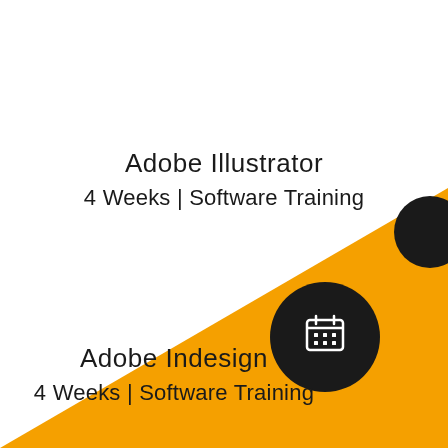Adobe Illustrator
4 Weeks | Software Training
[Figure (illustration): Dark circular decorative element (small, partially cut off) at top right, and a large dark circle with a calendar icon in the center-right area. An orange diagonal triangle fills the bottom-right corner.]
Adobe Indesign
4 Weeks | Software Training